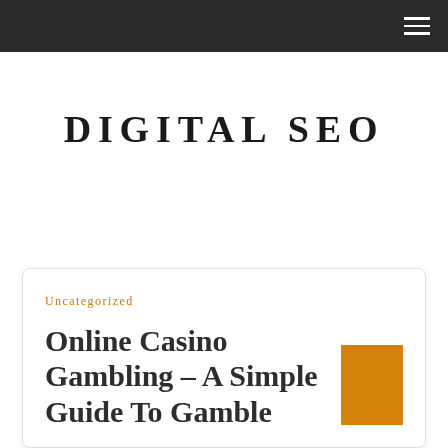DIGITAL SEO
Uncategorized
Online Casino Gambling – A Simple Guide To Gamble